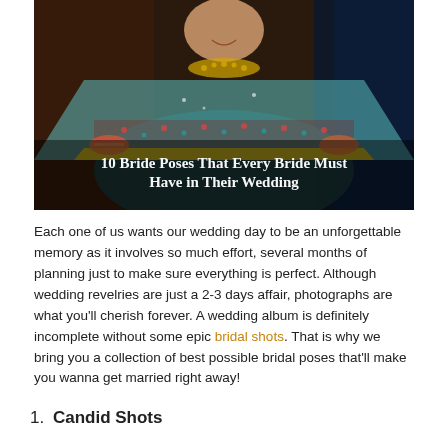[Figure (photo): Indian bride in traditional wedding attire holding up an embroidered dupatta/veil with gold border, wearing heavy gold jewelry and bangles, smiling. The photo has a dark background and the bride is dressed in colorful traditional outfit.]
10 Bride Poses That Every Bride Must Have in Their Wedding
Each one of us wants our wedding day to be an unforgettable memory as it involves so much effort, several months of planning just to make sure everything is perfect. Although wedding revelries are just a 2-3 days affair, photographs are what you'll cherish forever. A wedding album is definitely incomplete without some epic bridal shots. That is why we bring you a collection of best possible bridal poses that'll make you wanna get married right away!
1. Candid Shots